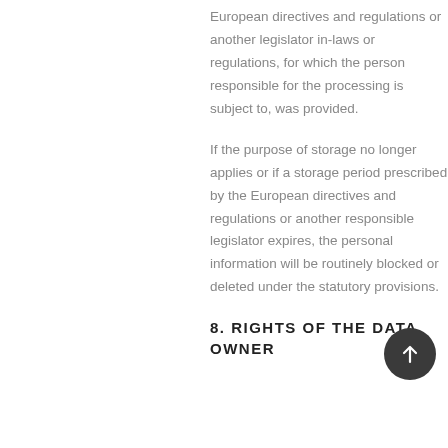European directives and regulations or another legislator in-laws or regulations, for which the person responsible for the processing is subject to, was provided.
If the purpose of storage no longer applies or if a storage period prescribed by the European directives and regulations or another responsible legislator expires, the personal information will be routinely blocked or deleted under the statutory provisions.
8. RIGHTS OF THE DATA OWNER